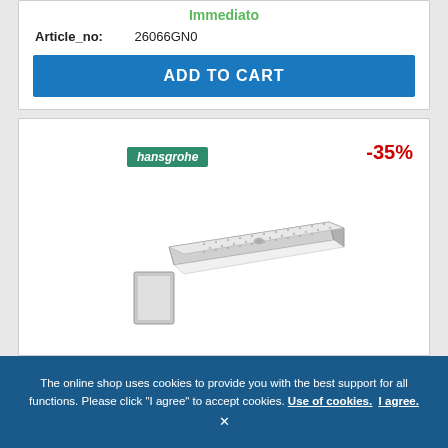Immediato
Article_no: 26066GN0
ADD TO CART
-35%
[Figure (photo): Hansgrohe wall-mounted overhead shower head, rectangular chrome/white, angled perspective view. Hansgrohe branded badge in green shown above product.]
The online shop uses cookies to provide you with the best support for all functions. Please click "I agree" to accept cookies. Use of cookies. I agree.
×